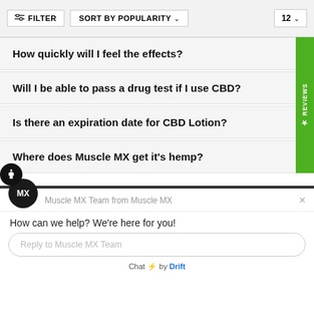FILTER   SORT BY POPULARITY   12
How quickly will I feel the effects?
Will I be able to pass a drug test if I use CBD?
Is there an expiration date for CBD Lotion?
Where does Muscle MX get it's hemp?
[Figure (screenshot): Chat widget from Drift showing Muscle MX Team chat with reply input field]
Muscle MX Team from Muscle MX
How can we help? We're here for you!
Reply to Muscle MX Team
Chat ⚡ by Drift